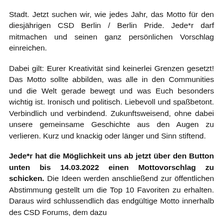Stadt. Jetzt suchen wir, wie jedes Jahr, das Motto für den diesjährigen CSD Berlin / Berlin Pride. Jede*r darf mitmachen und seinen ganz persönlichen Vorschlag einreichen.
Dabei gilt: Eurer Kreativität sind keinerlei Grenzen gesetzt! Das Motto sollte abbilden, was alle in den Communities und die Welt gerade bewegt und was Euch besonders wichtig ist. Ironisch und politisch. Liebevoll und spaßbetont. Verbindlich und verbindend. Zukunftsweisend, ohne dabei unsere gemeinsame Geschichte aus den Augen zu verlieren. Kurz und knackig oder länger und Sinn stiftend.
Jede*r hat die Möglichkeit uns ab jetzt über den Button unten bis 14.03.2022 einen Mottovorschlag zu schicken. Die Ideen werden anschließend zur öffentlichen Abstimmung gestellt um die Top 10 Favoriten zu erhalten. Daraus wird schlussendlich das endgültige Motto innerhalb des CSD Forums, dem dazu